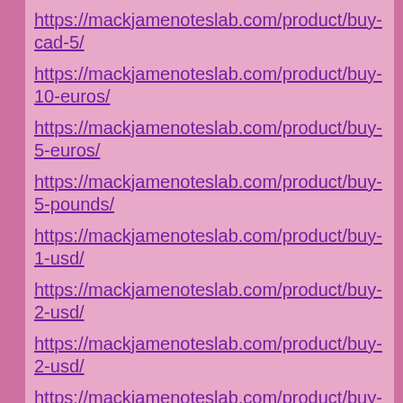https://mackjamenoteslab.com/product/buy-cad-5/
https://mackjamenoteslab.com/product/buy-10-euros/
https://mackjamenoteslab.com/product/buy-5-euros/
https://mackjamenoteslab.com/product/buy-5-pounds/
https://mackjamenoteslab.com/product/buy-1-usd/
https://mackjamenoteslab.com/product/buy-2-usd/
https://mackjamenoteslab.com/product/buy-2-usd/
https://mackjamenoteslab.com/product/buy-5-usd/
https://mackjamenoteslab.com/product/buy-10-usd/
https://mackjamenoteslab.com/product/buy-20-usd/
https://mackjamenoteslab.com/product/buy-50-usd/
https://mackjamenoteslab.com/product/buy-100-usd/